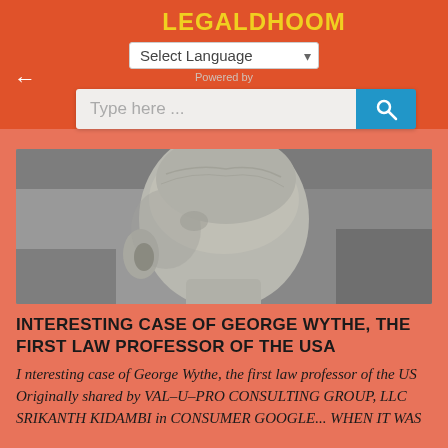LEGALDHOOM
Select Language   Powered by
Type here ...
[Figure (photo): Black and white engraving or etching of a man's head and face, showing the side/three-quarter profile with detailed texture, likely a historical portrait of George Wythe.]
INTERESTING CASE OF GEORGE WYTHE, THE FIRST LAW PROFESSOR OF THE USA
Interesting case of George Wythe, the first law professor of the US Originally shared by VAL-U-PRO CONSULTING GROUP, LLC SRIKANTH KIDAMBI in CONSUMER GOOGLE... WHEN IT WAS